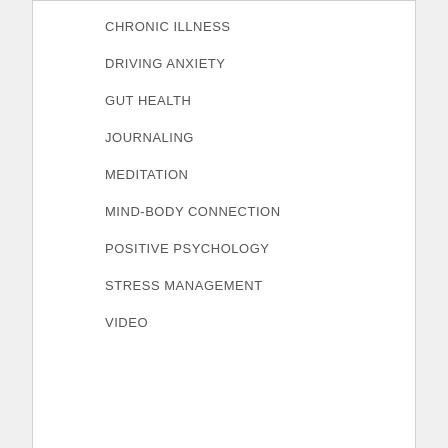CHRONIC ILLNESS
DRIVING ANXIETY
GUT HEALTH
JOURNALING
MEDITATION
MIND-BODY CONNECTION
POSITIVE PSYCHOLOGY
STRESS MANAGEMENT
VIDEO
Meta
LOG IN
ENTRIES FEED